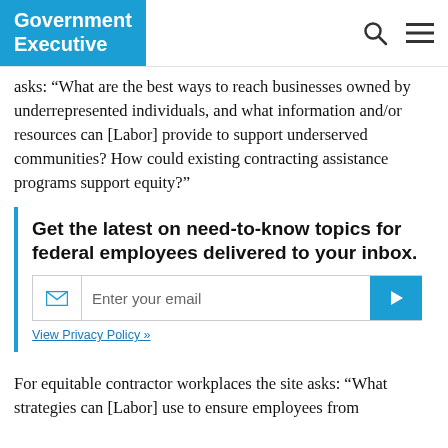Government Executive
asks: “What are the best ways to reach businesses owned by underrepresented individuals, and what information and/or resources can [Labor] provide to support underserved communities? How could existing contracting assistance programs support equity?”
Get the latest on need-to-know topics for federal employees delivered to your inbox.
For equitable contractor workplaces the site asks: “What strategies can [Labor] use to ensure employees from